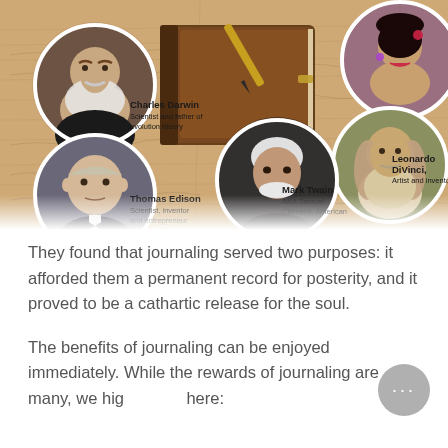[Figure (infographic): An infographic collage with a background of aged handwritten notes/journal pages and a leather journal with a pen. Five circular portrait medallions show famous journalers: Charles Darwin (Scientist and father of evolution theory), Thomas Edison (Scientist, inventor and entrepreneur), Mark Twain (AKA Samuel Clemens, American author), Leonardo DiVinci (Artist and inventor), and a woman in the top right corner (partially visible).]
They found that journaling served two purposes: it afforded them a permanent record for posterity, and it proved to be a cathartic release for the soul.
The benefits of journaling can be enjoyed immediately. While the rewards of journaling are many, we hig[hlighted] here: